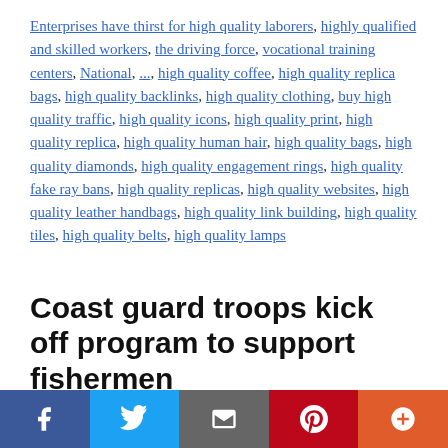Enterprises have thirst for high quality laborers, highly qualified and skilled workers, the driving force, vocational training centers, National, ..., high quality coffee, high quality replica bags, high quality backlinks, high quality clothing, buy high quality traffic, high quality icons, high quality print, high quality replica, high quality human hair, high quality bags, high quality diamonds, high quality engagement rings, high quality fake ray bans, high quality replicas, high quality websites, high quality leather handbags, high quality link building, high quality tiles, high quality belts, high quality lamps
Coast guard troops kick off program to support fishermen